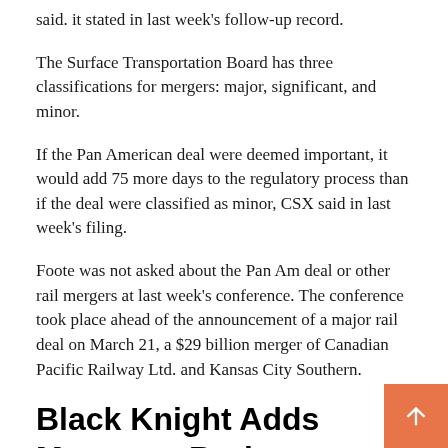said. it stated in last week's follow-up record.
The Surface Transportation Board has three classifications for mergers: major, significant, and minor.
If the Pan American deal were deemed important, it would add 75 more days to the regulatory process than if the deal were classified as minor, CSX said in last week's filing.
Foote was not asked about the Pan Am deal or other rail mergers at last week's conference. The conference took place ahead of the announcement of a major rail deal on March 21, a $29 billion merger of Canadian Pacific Railway Ltd. and Kansas City Southern.
Black Knight Adds Mortgage Broker System
Black Knight Inc. announced last week that it has acquired a cloud-based loan origination system for mortgage brokers from